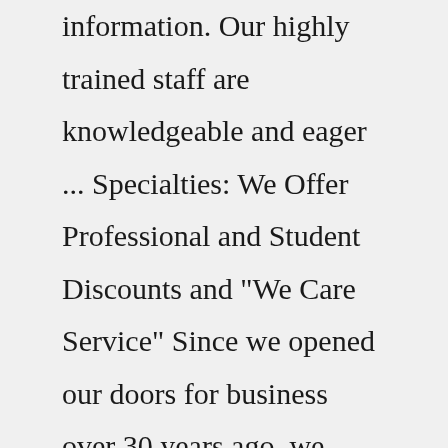information. Our highly trained staff are knowledgeable and eager ... Specialties: We Offer Professional and Student Discounts and "We Care Service" Since we opened our doors for business over 30 years ago, we continue to grow and expand our product lines in scrubs,medical uniforms,as well as medical equipment and supplies.Over the years, our company has become a major medical concept store providing a full line of medical and nurse uniforms, nurse